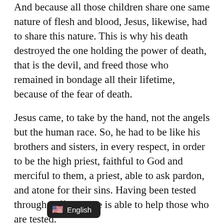And because all those children share one same nature of flesh and blood, Jesus, likewise, had to share this nature. This is why his death destroyed the one holding the power of death, that is the devil, and freed those who remained in bondage all their lifetime, because of the fear of death.
Jesus came, to take by the hand, not the angels but the human race. So, he had to be like his brothers and sisters, in every respect, in order to be the high priest, faithful to God and merciful to them, a priest, able to ask pardon, and atone for their sins. Having been tested through suffering, he is able to help those who are tested.
Gospel: Lk 2:22-40:
When the day came for the purification according to the law of Moses, they brought the baby up to Jerusalem, to present him to the Lord, as it is written in the law of the Lord: Every first born male shall be consecrated to God. And they offered a sacrifice, as ordered in the law of the Lord: a pair of turtledoves or two young pigeons. There lived in Jerusalem, at th[...] ry upright and devout man named Simeon;